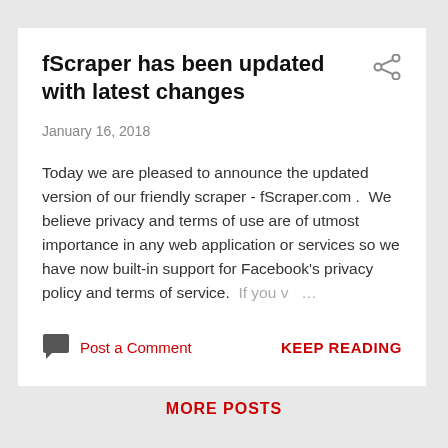fScraper has been updated with latest changes
January 16, 2018
Today we are pleased to announce the updated version of our friendly scraper - fScraper.com .  We believe privacy and terms of use are of utmost importance in any web application or services so we have now built-in support for Facebook's privacy policy and terms of service.  If you v …
Post a Comment
KEEP READING
MORE POSTS